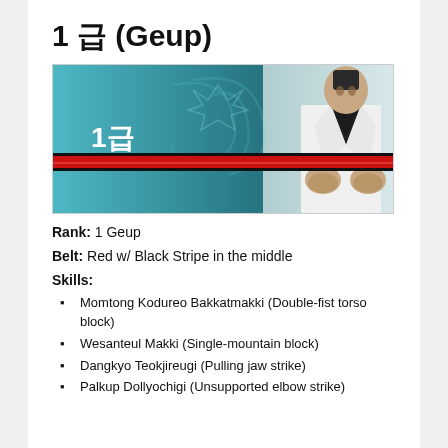1 급 (Geup)
[Figure (illustration): Banner image showing a taekwondo practitioner in white dobok with black collar, with text '1급' and a red belt with black stripe across the image on a teal/dark background.]
Rank: 1 Geup
Belt: Red w/ Black Stripe in the middle
Skills:
Momtong Kodureo Bakkatmakki (Double-fist torso block)
Wesanteul Makki (Single-mountain block)
Dangkyo Teokjireugi (Pulling jaw strike)
Palkup Dollyochigi (Unsupported elbow strike)